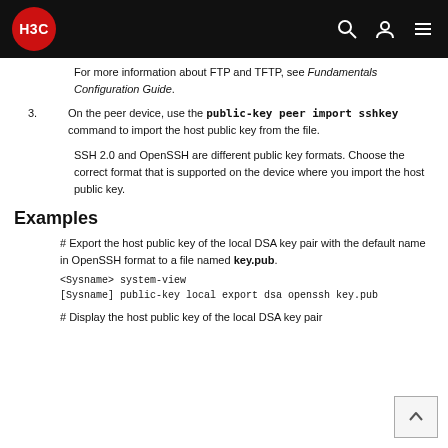H3C
For more information about FTP and TFTP, see Fundamentals Configuration Guide.
3. On the peer device, use the public-key peer import sshkey command to import the host public key from the file.
SSH 2.0 and OpenSSH are different public key formats. Choose the correct format that is supported on the device where you import the host public key.
Examples
# Export the host public key of the local DSA key pair with the default name in OpenSSH format to a file named key.pub.
<Sysname> system-view
[Sysname] public-key local export dsa openssh key.pub
# Display the host public key of the local DSA key pair